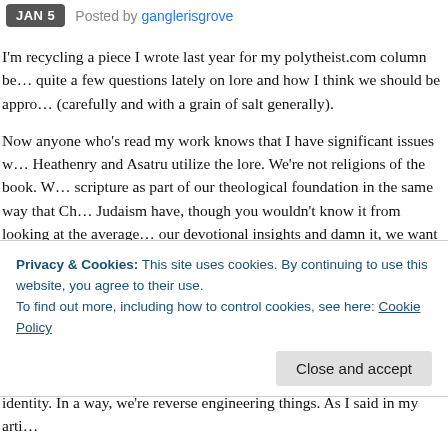JAN 5  Posted by ganglerisgrove
I'm recycling a piece I wrote last year for my polytheist.com column be… quite a few questions lately on lore and how I think we should be appro… (carefully and with a grain of salt generally).
Now anyone who's read my work knows that I have significant issues w… Heathenry and Asatru utilize the lore. We're not religions of the book. W… scripture as part of our theological foundation in the same way that Ch… Judaism have, though you wouldn't know it from looking at the average… our devotional insights and damn it, we want them to conform to lore to… positioning lore as any type of religious authority is a deeply flawed pre… a number of reasons (not the least of which is that much of it was writt… mention our ability to interpret what we do have tends to be limited by … imagination. One might say, for instance, that there's no evidence for p…
Privacy & Cookies: This site uses cookies. By continuing to use this website, you agree to their use.
To find out more, including how to control cookies, see here: Cookie Policy
Close and accept
identity. In a way, we're reverse engineering things. As I said in my arti…